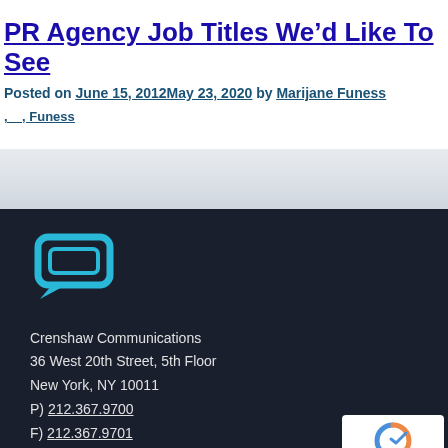PR Agency Job Titles We'd Like To See
Posted on June 15, 2012May 23, 2020 by Marijane Funess
Marijane Funess
[Figure (logo): Crenshaw Communications speech bubble logo in cyan/blue on dark background]
Crenshaw Communications
36 West 20th Street, 5th Floor
New York, NY 10011
P) 212.367.9700
F) 212.367.9701